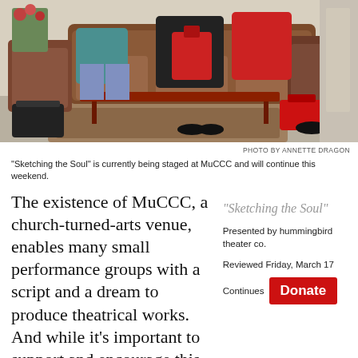[Figure (photo): Theatrical scene showing actors on a couch set with furniture and props, including bags and a coffee table]
PHOTO BY ANNETTE DRAGON
"Sketching the Soul" is currently being staged at MuCCC and will continue this weekend.
The existence of MuCCC, a church-turned-arts venue, enables many small performance groups with a script and a dream to produce theatrical works. And while it's important to support and encourage this
"Sketching the Soul"
Presented by hummingbird theater co.
Reviewed Friday, March 17
Continues
[Figure (other): Red Donate button]